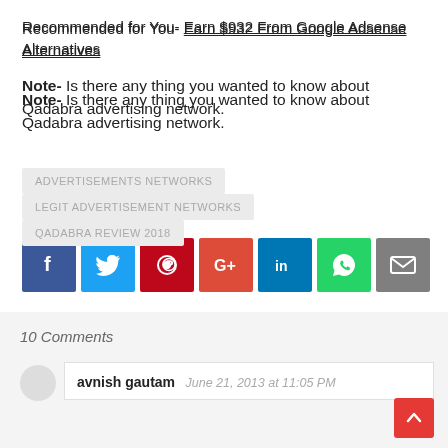Recommended for You- Earn $932 From Google Adsense Alternatives
Note- Is there any thing you wanted to know about Qadabra advertising network.
ADVERTISEMENTS NETWORKS
LEGIT ADVERTISEMENT NETWORKS
QADABRA REVIEW 2018
[Figure (infographic): Social sharing buttons: Facebook, Twitter, Pinterest, Google+, LinkedIn, WhatsApp, Email]
10 Comments
avnish gautam  June 21, 2013 at 11:05 PM